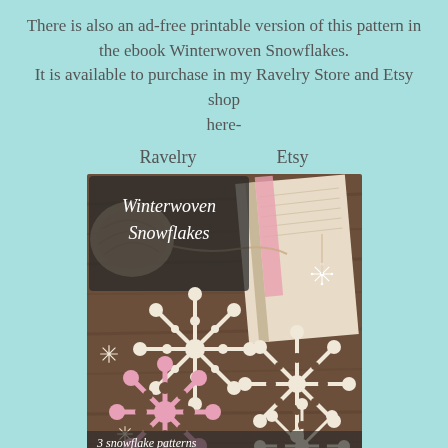There is also an ad-free printable version of this pattern in the ebook Winterwoven Snowflakes.
It is available to purchase in my Ravelry Store and Etsy shop here-
Ravelry        Etsy
[Figure (photo): Book cover for 'Winterwoven Snowflakes' by Julia Hart, showing crocheted snowflakes in cream and pink on a wooden background, with text '3 snowflake patterns designed by Julia Hart']